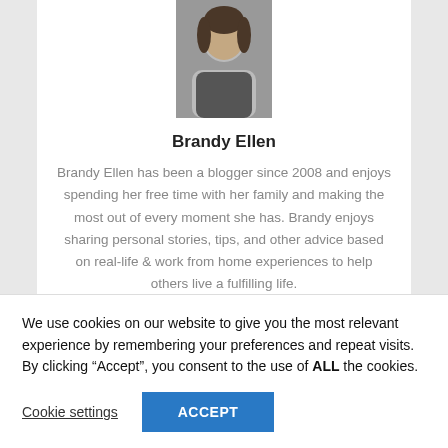[Figure (photo): Profile photo of Brandy Ellen, a woman with dark hair]
Brandy Ellen
Brandy Ellen has been a blogger since 2008 and enjoys spending her free time with her family and making the most out of every moment she has. Brandy enjoys sharing personal stories, tips, and other advice based on real-life & work from home experiences to help others live a fulfilling life.
[Figure (other): Social media icons: Facebook, Twitter, Instagram]
We use cookies on our website to give you the most relevant experience by remembering your preferences and repeat visits. By clicking “Accept”, you consent to the use of ALL the cookies.
Cookie settings   ACCEPT